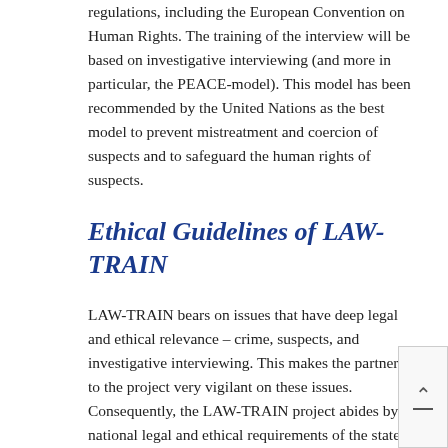regulations, including the European Convention on Human Rights. The training of the interview will be based on investigative interviewing (and more in particular, the PEACE-model). This model has been recommended by the United Nations as the best model to prevent mistreatment and coercion of suspects and to safeguard the human rights of suspects.
Ethical Guidelines of LAW-TRAIN
LAW-TRAIN bears on issues that have deep legal and ethical relevance – crime, suspects, and investigative interviewing. This makes the partners to the project very vigilant on these issues. Consequently, the LAW-TRAIN project abides by all national legal and ethical requirements of the states in which its research is being performed. Also, recommendations and regulations regarding ethics in science and new technologies of the European commission have been and will be met throughout the project, and so are any national and